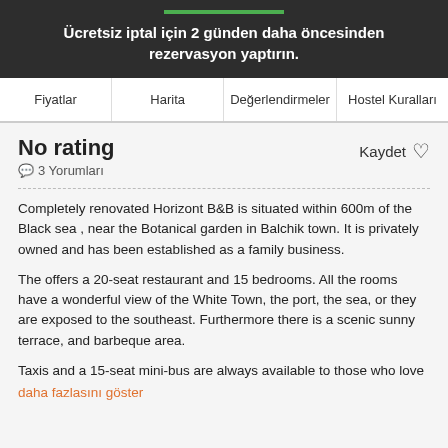Ücretsiz iptal için 2 günden daha öncesinden rezervasyon yaptırın.
Fiyatlar | Harita | Değerlendirmeler | Hostel Kuralları
No rating
3 Yorumları
Kaydet
Completely renovated Horizont B&B is situated within 600m of the Black sea , near the Botanical garden in Balchik town. It is privately owned and has been established as a family business.
The offers a 20-seat restaurant and 15 bedrooms. All the rooms have a wonderful view of the White Town, the port, the sea, or they are exposed to the southeast. Furthermore there is a scenic sunny terrace, and barbeque area.
Taxis and a 15-seat mini-bus are always available to those who love daha fazlasını göster